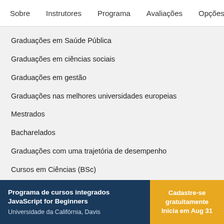Sobre    Instrutores    Programa    Avaliações    Opções de i
Graduações em Saúde Pública
Graduações em ciências sociais
Graduações em gestão
Graduações nas melhores universidades europeias
Mestrados
Bacharelados
Graduações com uma trajetória de desempenho
Cursos em Ciências (BSc)
O que é uma licenciatura?
Quanto tempo leva um mestrado?
Programa de cursos integrados JavaScript for Beginners
Universidade da Califórnia, Davis
Cadastre-se gratuitamente
Inicia em Aug 31